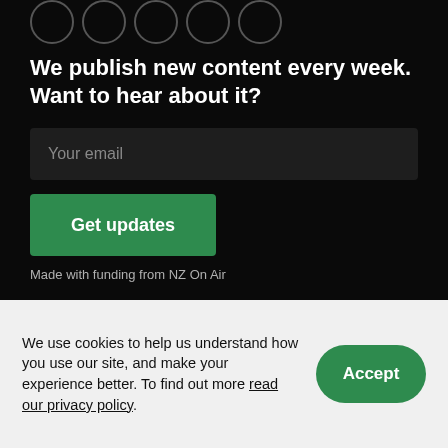[Figure (other): Row of partially visible circular social media/navigation icons at the top of a dark background section]
We publish new content every week. Want to hear about it?
Your email
Get updates
Made with funding from NZ On Air
We use cookies to help us understand how you use our site, and make your experience better. To find out more read our privacy policy.
Accept